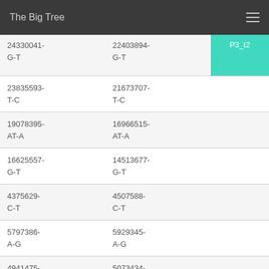The Big Tree
|  |  |  |
| --- | --- | --- |
| 24330041-G-T | 22403894-G-T | P3_t2 |
| 23835593-T-C | 21673707-T-C |  |
| 19078395-AT-A | 16966515-AT-A |  |
| 16625557-G-T | 14513677-G-T |  |
| 4375629-C-T | 4507588-C-T |  |
| 5797386-A-G | 5929345-A-G |  |
| 4941475-A-AT,ATT | 5073434-A-AT,ATT |  |
| 29421013-... | 29369127-... | DY718... |